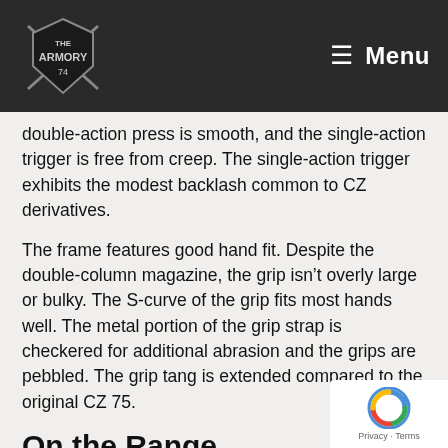The Armory Menu
double-action press is smooth, and the single-action trigger is free from creep. The single-action trigger exhibits the modest backlash common to CZ derivatives.
The frame features good hand fit. Despite the double-column magazine, the grip isn't overly large or bulky. The S-curve of the grip fits most hands well. The metal portion of the grip strap is checkered for additional abrasion and the grips are pebbled. The grip tang is extended compared to the original CZ 75.
On the Range